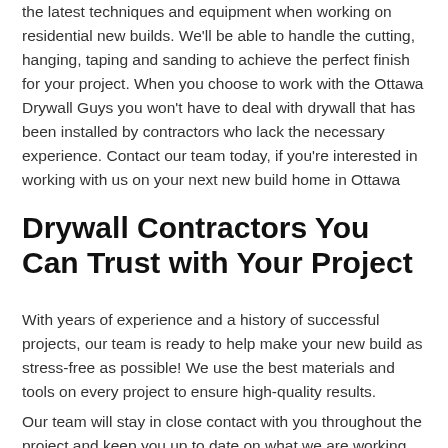the latest techniques and equipment when working on residential new builds. We'll be able to handle the cutting, hanging, taping and sanding to achieve the perfect finish for your project. When you choose to work with the Ottawa Drywall Guys you won't have to deal with drywall that has been installed by contractors who lack the necessary experience. Contact our team today, if you're interested in working with us on your next new build home in Ottawa
Drywall Contractors You Can Trust with Your Project
With years of experience and a history of successful projects, our team is ready to help make your new build as stress-free as possible! We use the best materials and tools on every project to ensure high-quality results.
Our team will stay in close contact with you throughout the project and keep you up to date on what we are working on